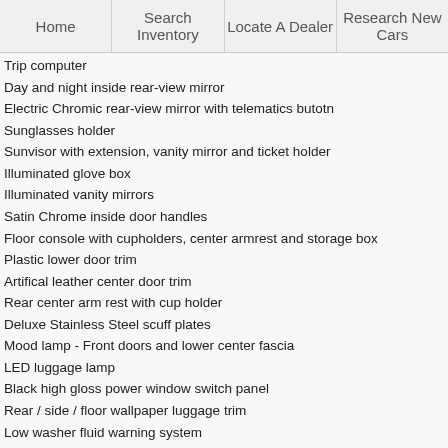Home | Search Inventory | Locate A Dealer | Research New Cars
Trip computer
Day and night inside rear-view mirror
Electric Chromic rear-view mirror with telematics butotn
Sunglasses holder
Sunvisor with extension, vanity mirror and ticket holder
Illuminated glove box
Illuminated vanity mirrors
Satin Chrome inside door handles
Floor console with cupholders, center armrest and storage box
Plastic lower door trim
Artifical leather center door trim
Rear center arm rest with cup holder
Deluxe Stainless Steel scuff plates
Mood lamp - Front doors and lower center fascia
LED luggage lamp
Black high gloss power window switch panel
Rear / side / floor wallpaper luggage trim
Low washer fluid warning system
Assist grips (x3)
Coat hook (x1)
Seating and Trim Standard Features